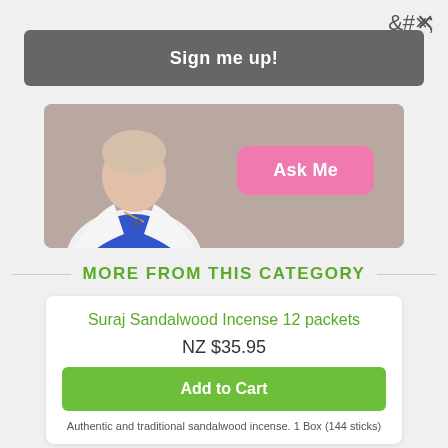×
Sign me up!
[Figure (photo): Partial view of a woman in a white blazer and blue top, with a pink 'Ask Me' button on a taupe/grey background]
MORE FROM THIS CATEGORY
Suraj Sandalwood Incense 12 packets
NZ $35.95
Add to Cart
Authentic and traditional sandalwood incense. 1 Box (144 sticks)